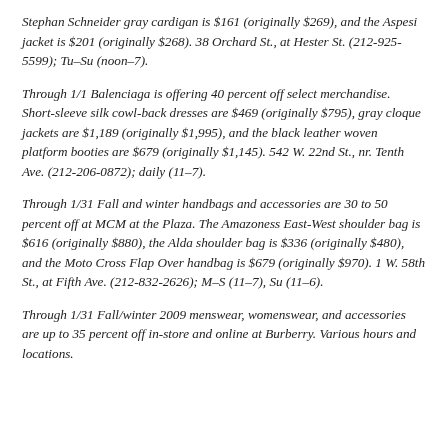Stephan Schneider gray cardigan is $161 (originally $269), and the Aspesi jacket is $201 (originally $268). 38 Orchard St., at Hester St. (212-925-5599); Tu–Su (noon–7).
Through 1/1 Balenciaga is offering 40 percent off select merchandise. Short-sleeve silk cowl-back dresses are $469 (originally $795), gray cloque jackets are $1,189 (originally $1,995), and the black leather woven platform booties are $679 (originally $1,145). 542 W. 22nd St., nr. Tenth Ave. (212-206-0872); daily (11–7).
Through 1/31 Fall and winter handbags and accessories are 30 to 50 percent off at MCM at the Plaza. The Amazoness East-West shoulder bag is $616 (originally $880), the Alda shoulder bag is $336 (originally $480), and the Moto Cross Flap Over handbag is $679 (originally $970). 1 W. 58th St., at Fifth Ave. (212-832-2626); M–S (11–7), Su (11–6).
Through 1/31 Fall/winter 2009 menswear, womenswear, and accessories are up to 35 percent off in-store and online at Burberry. Various hours and locations.